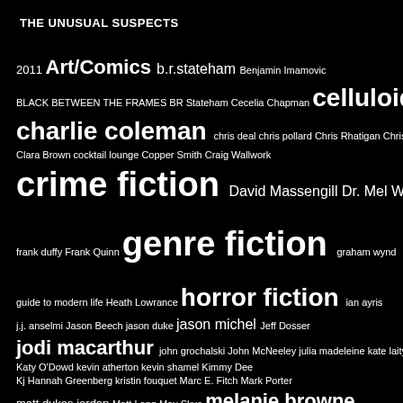THE UNUSUAL SUSPECTS
[Figure (infographic): Tag cloud / word cloud on black background featuring names of contributors and genre tags for Pulp Metal Magazine. Terms sized by frequency/importance: largest terms include 'pulp metal magazine', 'genre fiction', 'horror fiction', 'crime fiction', 'celluloid', 'jodi macarthur', 'melanie browne', 'richard godwin', 'jason michel', 'charlie coleman'. Smaller terms include contributor names and genre labels throughout.]